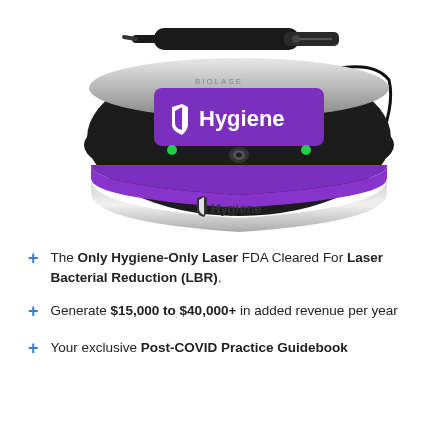[Figure (photo): Biolase Epic Hygiene dental laser device — a round, puck-shaped unit with a purple/violet and chrome exterior. The top display panel shows a purple screen with a white shield logo and 'Hygiene' text in white. Below that reads 'epic' in grey lettering. The base ring shows the 'Hygiene' branding again with the shield logo. A black laser hand-piece with a thin cable is resting on top of the device.]
The Only Hygiene-Only Laser FDA Cleared For Laser Bacterial Reduction (LBR).
Generate $15,000 to $40,000+ in added revenue per year
Your exclusive Post-COVID Practice Guidebook